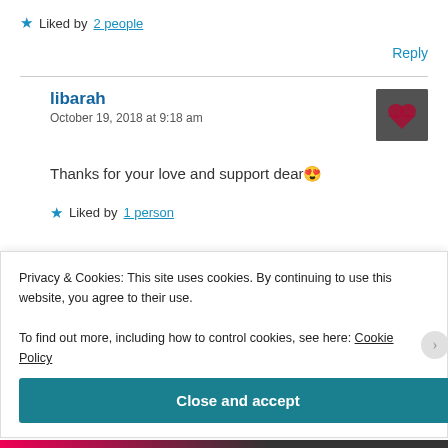★ Liked by 2 people
Reply
libarah
October 19, 2018 at 9:18 am
[Figure (photo): User avatar thumbnail showing a person with a red heart, dark tones]
Thanks for your love and support dear 😍
★ Liked by 1 person
Privacy & Cookies: This site uses cookies. By continuing to use this website, you agree to their use.
To find out more, including how to control cookies, see here: Cookie Policy
Close and accept